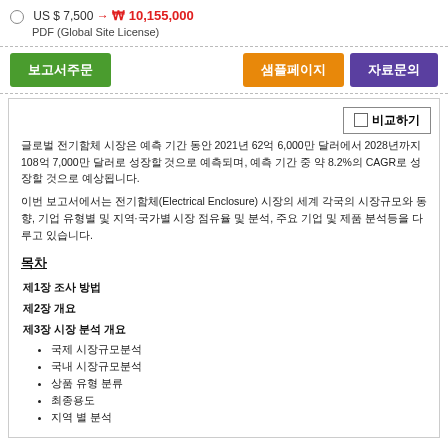US $ 7,500 → ₩ 10,155,000 PDF (Global Site License)
보고서주문 | 샘플페이지 | 자료문의
글로벌 전기함체 시장은 예측 기간 동안 2021년 62억 6,000만 달러에서 2028년까지 108억 7,000만 달러로 성장할 것으로 예측되며, 예측 기간 중 약 8.2%의 CAGR로 성장할 것으로 예상됩니다.
이번 보고서에서는 전기함체(Electrical Enclosure) 시장의 세계 각국의 시장규모와 동향, 기업 유형별 및 지역·국가별 시장 점유율 및 분석, 주요 기업 및 제품 분석등을 다루고 있습니다.
목차
제1장 조사 방법
제2장 개요
제3장 시장 분석 개요
국제 시장규모분석
국내 시장규모분석
상품 유형 분류
최종용도
지역 별 분석